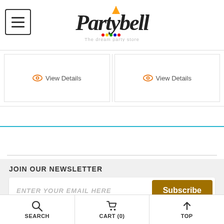Partybell - The dream party store
View Details | View Details
JOIN OUR NEWSLETTER
ENTER YOUR EMAIL HERE Subscribe
CUSTOMER SUPPORT
909-992-0502 (Offline) sales@partybell.com
SEARCH  CART (0)  TOP